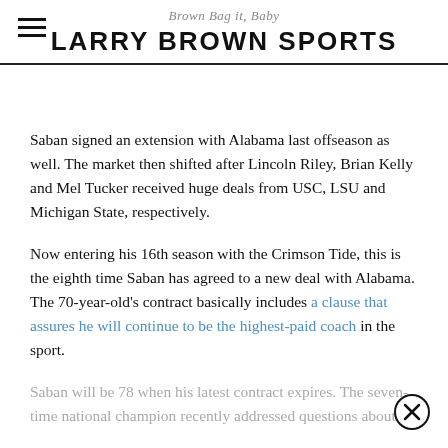Brown Bag it, Baby — LARRY BROWN SPORTS
Saban signed an extension with Alabama last offseason as well. The market then shifted after Lincoln Riley, Brian Kelly and Mel Tucker received huge deals from USC, LSU and Michigan State, respectively.
Now entering his 16th season with the Crimson Tide, this is the eighth time Saban has agreed to a new deal with Alabama. The 70-year-old's contract basically includes a clause that assures he will continue to be the highest-paid coach in the sport.
Saban will be 78 when his latest contract expires. The seven-time national champion recently addressed questions about…